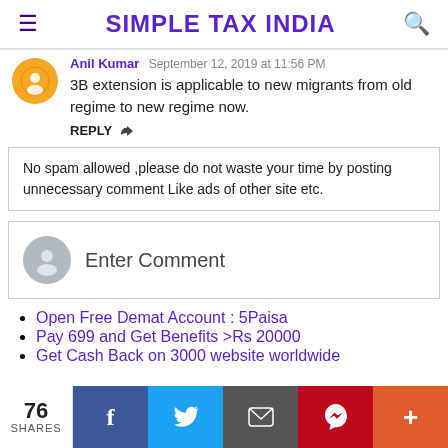SIMPLE TAX INDIA
3B extension is applicable to new migrants from old regime to new regime now.
REPLY
No spam allowed ,please do not waste your time by posting unnecessary comment Like ads of other site etc.
Enter Comment
Open Free Demat Account : 5Paisa
Pay 699 and Get Benefits >Rs 20000
Get Cash Back on 3000 website worldwide
76 SHARES